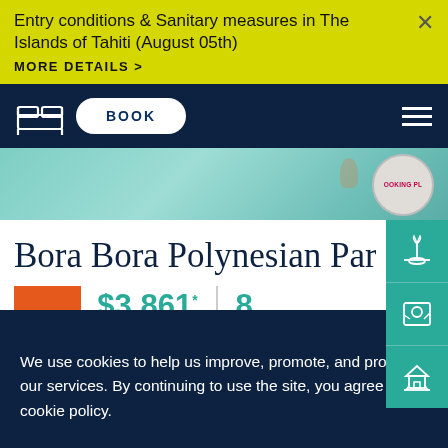Entry conditions & Sanitary measures in The Islands of Tahiti (August 05th)
MORE DETAILS >
[Figure (screenshot): Navy navigation bar with bed icon, BOOK button, and hamburger menu]
[Figure (photo): Aerial/overhead photo strip of turquoise water with a booking badge circle partially visible]
Bora Bora Polynesian Paradis
FROM  $3,861*  |  8
PER PERSON   DAYS
We use cookies to help us improve, promote, and protect our services. By continuing to use the site, you agree to our cookie policy.